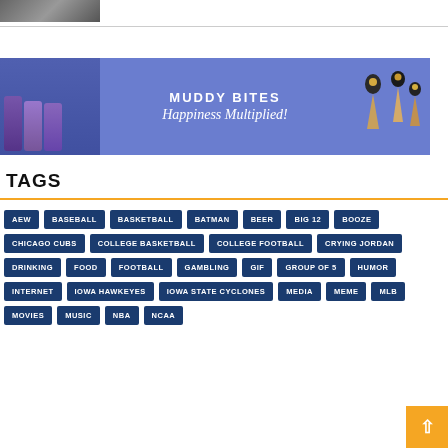[Figure (photo): Small grayscale photo strip at top left]
[Figure (illustration): Muddy Bites advertisement banner with blue background showing ice cream cones and product packages. Text reads MUDDY BITES and Happiness Multiplied!]
TAGS
AEW
BASEBALL
BASKETBALL
BATMAN
BEER
BIG 12
BOOZE
CHICAGO CUBS
COLLEGE BASKETBALL
COLLEGE FOOTBALL
CRYING JORDAN
DRINKING
FOOD
FOOTBALL
GAMBLING
GIF
GROUP OF 5
HUMOR
INTERNET
IOWA HAWKEYES
IOWA STATE CYCLONES
MEDIA
MEME
MLB
MOVIES
MUSIC
NBA
NCAA